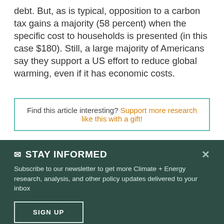debt. But, as is typical, opposition to a carbon tax gains a majority (58 percent) when the specific cost to households is presented (in this case $180). Still, a large majority of Americans say they support a US effort to reduce global warming, even if it has economic costs.
Find this article interesting? Support more research like this with a gift!
STAY INFORMED
Subscribe to our newsletter to get more Climate + Energy research, analysis, and other policy updates delivered to your inbox
SIGN UP